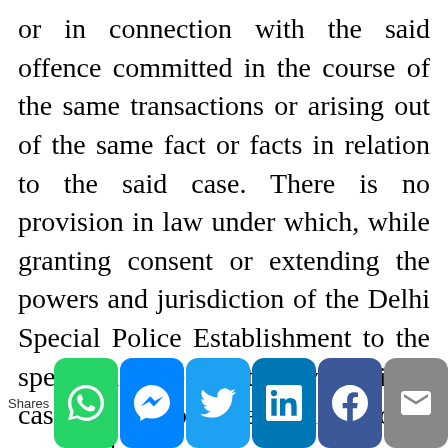or in connection with the said offence committed in the course of the same transactions or arising out of the same fact or facts in relation to the said case. There is no provision in law under which, while granting consent or extending the powers and jurisdiction of the Delhi Special Police Establishment to the specified State and to any specified case any reasons are required to be recorded on the face of the notification. The learned Single Judge of the Patna High Court was clearly in
Shares